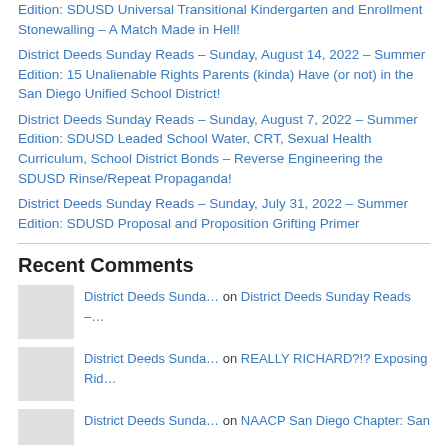Edition: SDUSD Universal Transitional Kindergarten and Enrollment Stonewalling – A Match Made in Hell!
District Deeds Sunday Reads – Sunday, August 14, 2022 – Summer Edition: 15 Unalienable Rights Parents (kinda) Have (or not) in the San Diego Unified School District!
District Deeds Sunday Reads – Sunday, August 7, 2022 – Summer Edition: SDUSD Leaded School Water, CRT, Sexual Health Curriculum, School District Bonds – Reverse Engineering the SDUSD Rinse/Repeat Propaganda!
District Deeds Sunday Reads – Sunday, July 31, 2022 – Summer Edition: SDUSD Proposal and Proposition Grifting Primer
Recent Comments
District Deeds Sunda… on District Deeds Sunday Reads –…
District Deeds Sunda… on REALLY RICHARD?!? Exposing Rid…
District Deeds Sunda… on NAACP San Diego Chapter: San